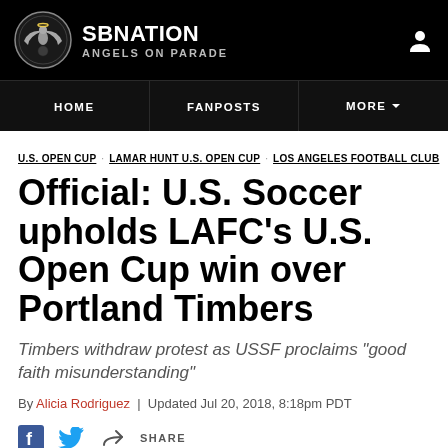SBNation - Angels on Parade
HOME
FANPOSTS
MORE
U.S. OPEN CUP  LAMAR HUNT U.S. OPEN CUP  LOS ANGELES FOOTBALL CLUB
Official: U.S. Soccer upholds LAFC's U.S. Open Cup win over Portland Timbers
Timbers withdraw protest as USSF proclaims “good faith misunderstanding”
By Alicia Rodriguez | Updated Jul 20, 2018, 8:18pm PDT